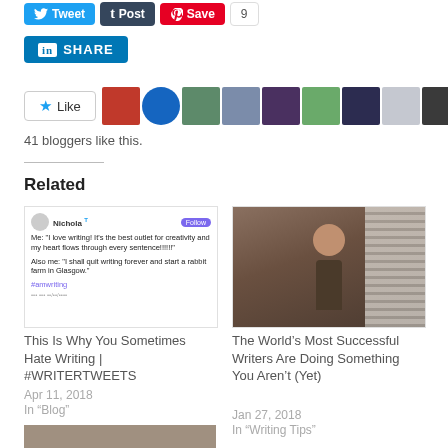[Figure (screenshot): Social share buttons: Tweet, Post, Save (Pinterest), count 9]
[Figure (screenshot): LinkedIn SHARE button]
[Figure (screenshot): Like button with star icon and avatar row of blogger profile pictures]
41 bloggers like this.
Related
[Figure (screenshot): Screenshot of a tweet/social post about writing: Me: 'I love writing! It's the best outlet for creativity and my heart flows through every sentence!!!!!!' Also me: 'I shall quit writing forever and start a rabbit farm in Glasgow.' #amwriting]
This Is Why You Sometimes Hate Writing | #WRITERTWEETS
Apr 11, 2018
In "Blog"
[Figure (photo): Photo of a woman with curly red/brown hair and glasses sitting in a chair, speaking or gesturing]
The World’s Most Successful Writers Are Doing Something You Aren’t (Yet)
Jan 27, 2018
In "Writing Tips"
[Figure (photo): Partially visible thumbnail image at bottom left]